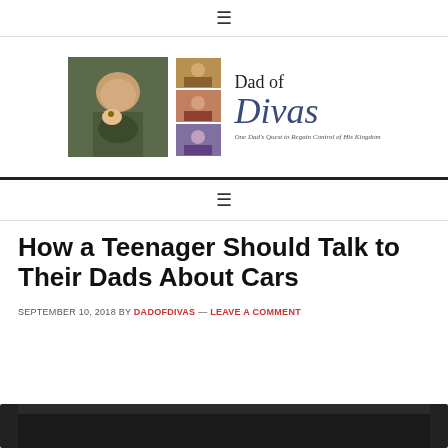≡ (hamburger menu icon)
[Figure (logo): Dad of Divas blog logo: photo of dad with baby on left, collage of girl photos in center, text 'Dad of Divas — One Dad's Quest to Regain Control of His Kingdom' on right]
≡ (hamburger menu icon)
How a Teenager Should Talk to Their Dads About Cars
SEPTEMBER 10, 2018 BY DADOFDIVAS — LEAVE A COMMENT
[Figure (photo): Partial photo visible at bottom of page, dark/black top portion of an image]